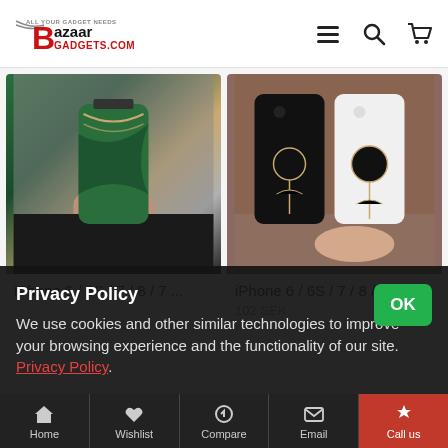Bazaar Gadgets - BazaarGadgets.com
[Figure (photo): Product photo: Hand holding an iPhone case with green marble pattern]
iPhone 6 / 6S / 7 / 8 / 7 ...
[Figure (photo): Product photo: Two iPhone cases (black and white) with gold rose design]
iPhone 6 / 6S / 7 / 8 / 7 ...
102 SEK
Privacy Policy
We use cookies and other similar technologies to improve your browsing experience and the functionality of our site. Privacy Policy.
Home | Wishlist | Compare | Email | Call us